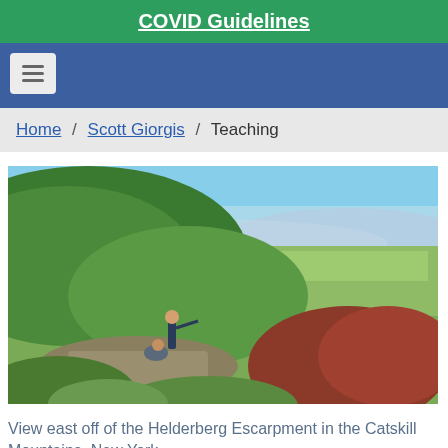COVID Guidelines
[Figure (screenshot): Navigation bar with hamburger menu on blue background]
Home / Scott Giorgis / Teaching
[Figure (photo): View east off of the Helderberg Escarpment in the Catskill Mountains, New York. Two people stand on rocky outcrop overlooking a wide valley with green forest and mountains in the background under a blue sky.]
View east off of the Helderberg Escarpment in the Catskill Mountains, New York.